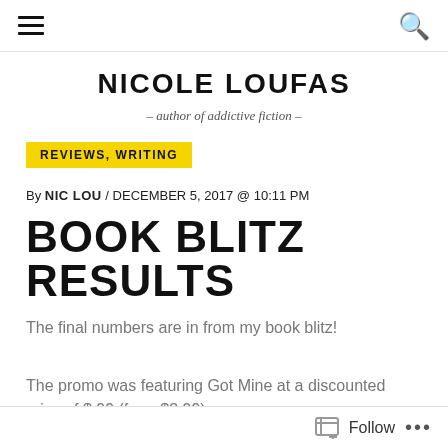≡  [search icon]
NICOLE LOUFAS
– author of addictive fiction –
REVIEWS, WRITING
By NIC LOU / DECEMBER 5, 2017 @ 10:11 PM
BOOK BLITZ RESULTS
The final numbers are in from my book blitz!
The promo was featuring Got Mine at a discounted price of $.99 (from $2.99).
Follow  ...